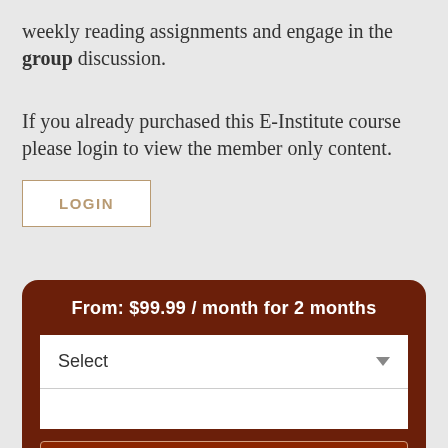weekly reading assignments and engage in the group discussion.
If you already purchased this E-Institute course please login to view the member only content.
LOGIN
From: $99.99 / month for 2 months
Select
SELECT OPTIONS